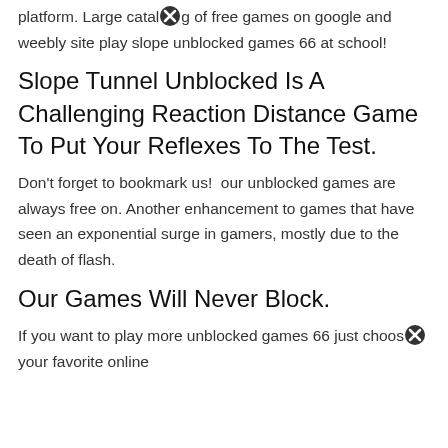platform. Large catalog of free games on google and weebly site play slope unblocked games 66 at school!
Slope Tunnel Unblocked Is A Challenging Reaction Distance Game To Put Your Reflexes To The Test.
Don't forget to bookmark us!  our unblocked games are always free on. Another enhancement to games that have seen an exponential surge in gamers, mostly due to the death of flash.
Our Games Will Never Block.
If you want to play more unblocked games 66 just choose your favorite online